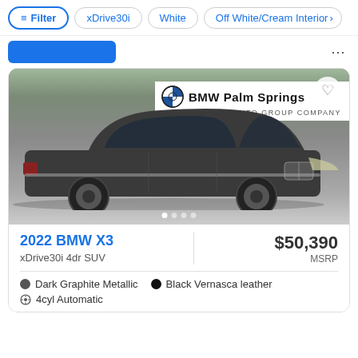Filter  xDrive30i  White  Off White/Cream Interior
[Figure (photo): Photo of a 2022 BMW X3 in Dark Graphite Metallic parked in front of a BMW Palm Springs dealership sign. The SUV faces left with the front visible. Image carousel dots are shown at the bottom.]
2022 BMW X3
xDrive30i 4dr SUV
$50,390
MSRP
Dark Graphite Metallic
Black Vernasca leather
4cyl Automatic